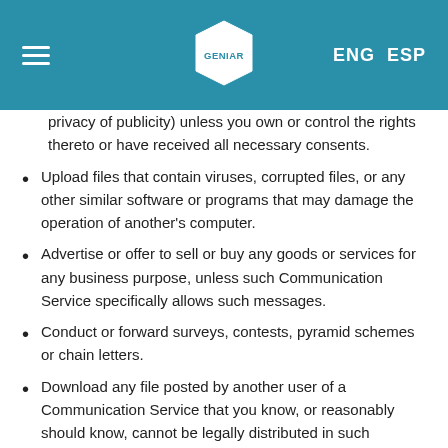GENIAR | ENG ESP
privacy of publicity) unless you own or control the rights thereto or have received all necessary consents.
Upload files that contain viruses, corrupted files, or any other similar software or programs that may damage the operation of another's computer.
Advertise or offer to sell or buy any goods or services for any business purpose, unless such Communication Service specifically allows such messages.
Conduct or forward surveys, contests, pyramid schemes or chain letters.
Download any file posted by another user of a Communication Service that you know, or reasonably should know, cannot be legally distributed in such manner.